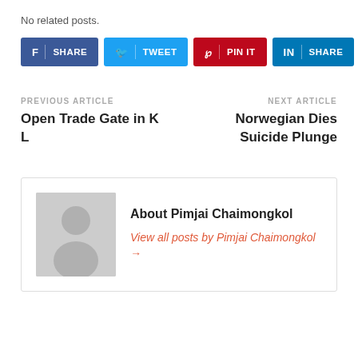No related posts.
[Figure (other): Social share buttons: Facebook SHARE, Twitter TWEET, Pinterest PIN IT, LinkedIn SHARE]
PREVIOUS ARTICLE
Open Trade Gate in K L
NEXT ARTICLE
Norwegian Dies Suicide Plunge
About Pimjai Chaimongkol
View all posts by Pimjai Chaimongkol →